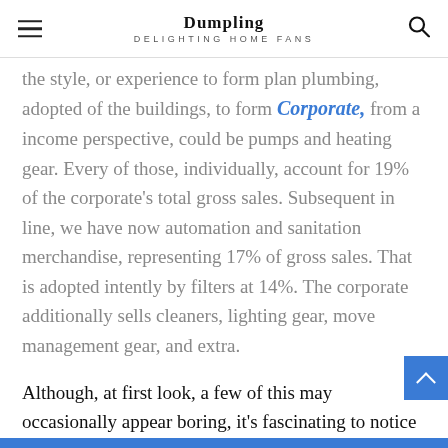Dumpling — DELIGHTING HOME FANS
the style, or experience to form plan plumbing, adopted of the buildings, to form Corporate from a income perspective, could be pumps and heating gear. Every of those, individually, account for 19% of the corporate's total gross sales. Subsequent in line, we have now automation and sanitation merchandise, representing 17% of gross sales. That is adopted intently by filters at 14%. The corporate additionally sells cleaners, lighting gear, move management gear, and extra.
Although, at first look, a few of this may occasionally appear boring, it's fascinating to notice that the corporate it isn't simply targeted on promoting conventional merchandise. As a substitute, administration is actually diving into the IoT (Web of Issues) area. A number of occasions all through its investor paperwork, the corporate mentions the shift that it's making towards IoT, even boasting that its merchandise embrace a big line of